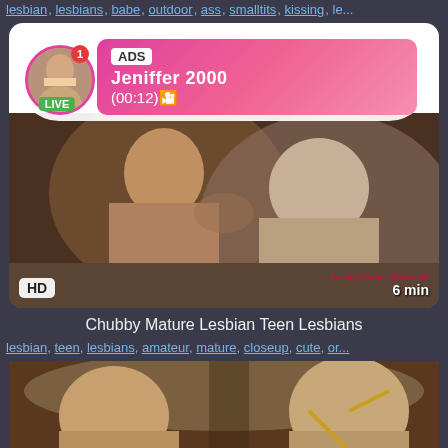lesbian, lesbians, babe, outdoor, ass, smalltits, kissing, le...
[Figure (screenshot): Video thumbnail with live ad overlay showing user 'Jeniffer 2000' with LIVE badge and ADS label, duration (00:12), HD badge, 6 min duration, watermark 'LesbianGeneration.com']
Chubby Mature Lesbian Teen Lesbians
lesbian, teen, lesbians, amateur, mature, closeup, cute, or...
[Figure (screenshot): Second video thumbnail showing adult content]